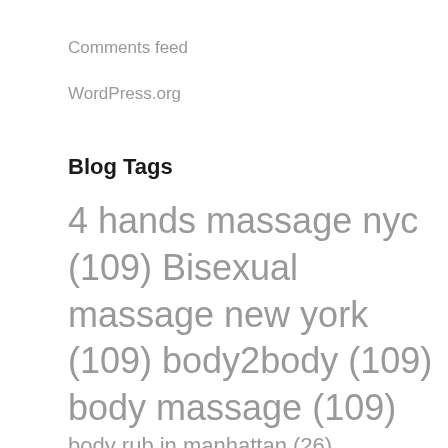Comments feed
WordPress.org
Blog Tags
4 hands massage nyc (109) Bisexual massage new york (109) body2body (109) body massage (109) body rub in manhattan (26) bodyrub in manhattan (98) body rub in new york (109) bodyrub in new york (10) body rub massage (100)